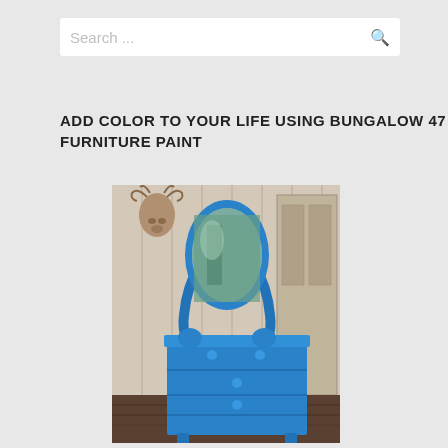Search ...
ADD COLOR TO YOUR LIFE USING BUNGALOW 47 FURNITURE PAINT
[Figure (photo): A blue painted vintage dresser with an oval mirror on top, displayed in a rustic shop setting with weathered white wood panels and a deer head mount on the wall in the background.]